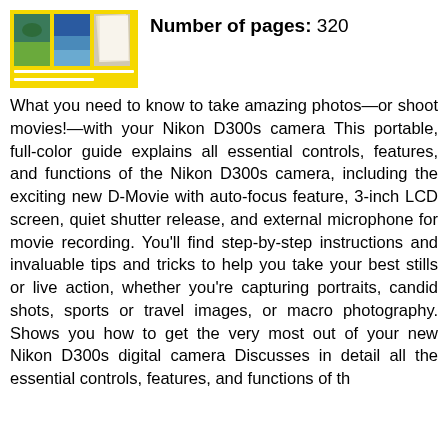[Figure (photo): Book cover thumbnail showing nature/landscape photos arranged in a collage on a yellow background]
Number of pages: 320
What you need to know to take amazing photos—or shoot movies!—with your Nikon D300s camera This portable, full-color guide explains all essential controls, features, and functions of the Nikon D300s camera, including the exciting new D-Movie with auto-focus feature, 3-inch LCD screen, quiet shutter release, and external microphone for movie recording. You'll find step-by-step instructions and invaluable tips and tricks to help you take your best stills or live action, whether you're capturing portraits, candid shots, sports or travel images, or macro photography. Shows you how to get the very most out of your new Nikon D300s digital camera Discusses in detail all the essential controls, features, and functions of the